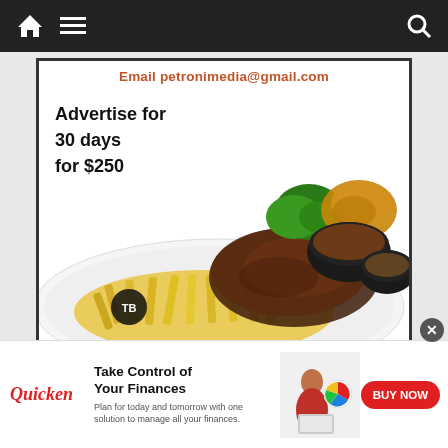Navigation bar with home, menu, and search icons
[Figure (infographic): Advertisement box with email 'petronimedia@gmail.com', text 'Advertise for 30 days for $250', and a food photo showing a plate of steak with fries and sides]
Email petronimedia@gmail.com
Advertise for 30 days for $250
[Figure (photo): Plate of steak with french fries, greens and side dishes in black bowls, restaurant branding logo visible]
[Figure (infographic): Small ad unit showing globe icon and 'bttn' link with ad control icons]
[Figure (infographic): Quicken banner advertisement: 'Take Control of Your Finances - Plan for today and tomorrow with one solution to manage all your finances.' with BUY NOW button and woman at laptop image]